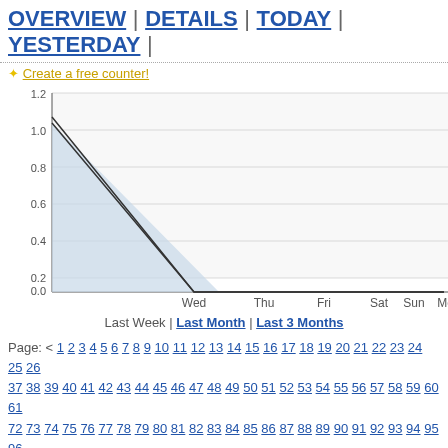OVERVIEW | DETAILS | TODAY | YESTERDAY |
✦ Create a free counter!
[Figure (area-chart): Last Week visits]
Last Week | Last Month | Last 3 Months
Page: < 1 2 3 4 5 6 7 8 9 10 11 12 13 14 15 16 17 18 19 20 21 22 23 24 25 26 37 38 39 40 41 42 43 44 45 46 47 48 49 50 51 52 53 54 55 56 57 58 59 60 61 72 73 74 75 76 77 78 79 80 81 82 83 84 85 86 87 88 89 90 91 92 93 94 95 96
| Date | Vis |
| --- | --- |
| March 10, 2013 | 0 |
| March 9, 2013 | 0 |